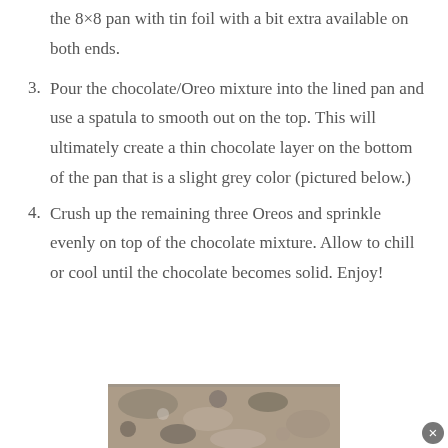the 8×8 pan with tin foil with a bit extra available on both ends.
3. Pour the chocolate/Oreo mixture into the lined pan and use a spatula to smooth out on the top.  This will ultimately create a thin chocolate layer on the bottom of the pan that is a slight grey color (pictured below.)
4. Crush up the remaining three Oreos and sprinkle evenly on top of the chocolate mixture.  Allow to chill or cool until the chocolate becomes solid.  Enjoy!
[Figure (photo): Photo of chocolate and Oreo mixture in pan showing a grey-brown textured surface with crushed Oreos on top.]